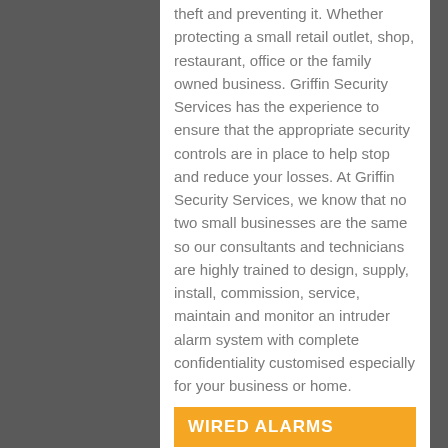theft and preventing it. Whether protecting a small retail outlet, shop, restaurant, office or the family owned business. Griffin Security Services has the experience to ensure that the appropriate security controls are in place to help stop and reduce your losses. At Griffin Security Services, we know that no two small businesses are the same so our consultants and technicians are highly trained to design, supply, install, commission, service, maintain and monitor an intruder alarm system with complete confidentiality customised especially for your business or home.
WIRED ALARMS
[Figure (photo): Grid of wired alarm system product images including control panels, keypads, motion sensors, remote controls, and other alarm components.]